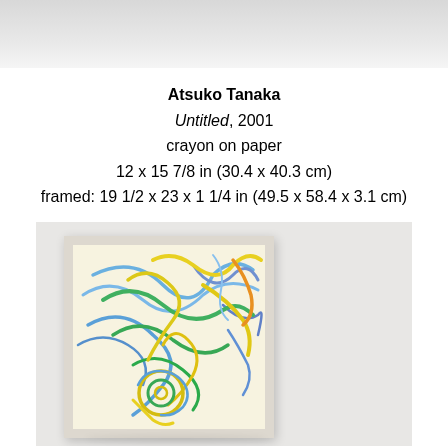[Figure (photo): Top portion of a gallery wall, light gray, partially cropped]
Atsuko Tanaka
Untitled, 2001
crayon on paper
12 x 15 7/8 in (30.4 x 40.3 cm)
framed: 19 1/2 x 23 x 1 1/4 in (49.5 x 58.4 x 3.1 cm)
[Figure (photo): Photograph of Atsuko Tanaka's Untitled (2001), a crayon on paper artwork in a light wood frame hanging on a white gallery wall. The artwork features energetic abstract lines in blue, green, and yellow on a pale yellow background, with a spiral form in the lower center.]